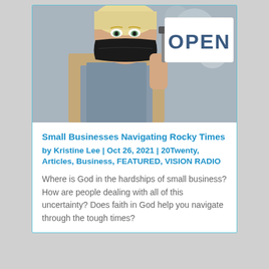[Figure (photo): A woman wearing a black face mask and an apron holds up a white OPEN sign with bold dark blue lettering, standing at what appears to be a shop entrance.]
Small Businesses Navigating Rocky Times
by Kristine Lee | Oct 26, 2021 | 20Twenty, Articles, Business, FEATURED, VISION RADIO
Where is God in the hardships of small business? How are people dealing with all of this uncertainty? Does faith in God help you navigate through the tough times?